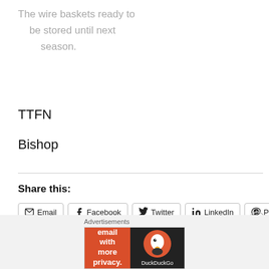The wire baskets ready to be stored until next season.
TTFN
Bishop
Share this:
[Figure (screenshot): Row of social share buttons: Email, Facebook, Twitter, LinkedIn, Pinterest]
[Figure (screenshot): Like button with star icon and a thumbnail image of a tower]
[Figure (screenshot): Advertisement banner: DuckDuckGo - Search, browse, and email with more privacy. All in One Free App]